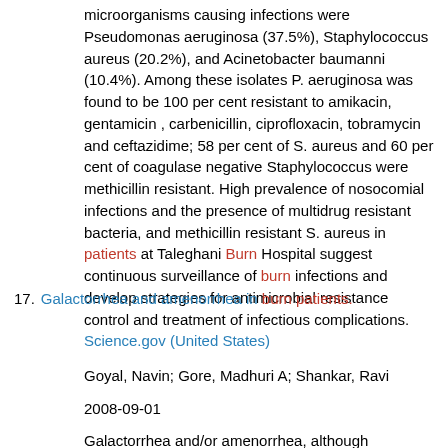microorganisms causing infections were Pseudomonas aeruginosa (37.5%), Staphylococcus aureus (20.2%), and Acinetobacter baumanni (10.4%). Among these isolates P. aeruginosa was found to be 100 per cent resistant to amikacin, gentamicin , carbenicillin, ciprofloxacin, tobramycin and ceftazidime; 58 per cent of S. aureus and 60 per cent of coagulase negative Staphylococcus were methicillin resistant. High prevalence of nosocomial infections and the presence of multidrug resistant bacteria, and methicillin resistant S. aureus in patients at Taleghani Burn Hospital suggest continuous surveillance of burn infections and develop strategies for antimicrobial resistance control and treatment of infectious complications.
17. Galactorrhea and amenorrhea in burn patients.
Science.gov (United States)
Goyal, Navin; Gore, Madhuri A; Shankar, Ravi
2008-09-01
Galactorrhea and/or amenorrhea, although uncommonly reported in post-burn patients, is a complex problem to treat